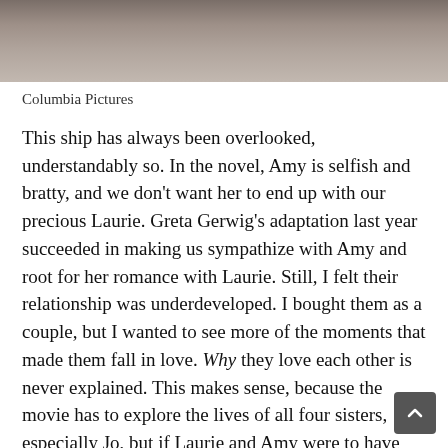[Figure (photo): A photograph showing two people, cropped to show the upper portion. Appears to be a period drama still, likely from a film adaptation.]
Columbia Pictures
This ship has always been overlooked, understandably so. In the novel, Amy is selfish and bratty, and we don't want her to end up with our precious Laurie. Greta Gerwig's adaptation last year succeeded in making us sympathize with Amy and root for her romance with Laurie. Still, I felt their relationship was underdeveloped. I bought them as a couple, but I wanted to see more of the moments that made them fall in love. Why they love each other is never explained. This makes sense, because the movie has to explore the lives of all four sisters, especially Jo, but if Laurie and Amy were to have their own novel, I think their story could be fleshed out into something exceptional.